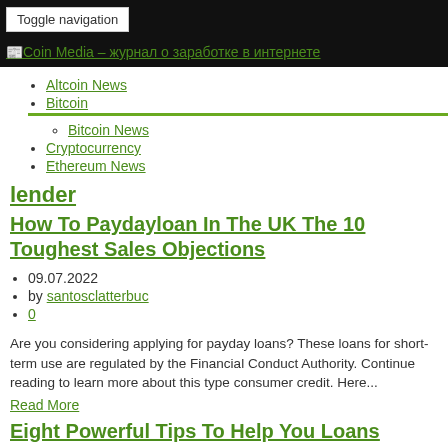Toggle navigation | Coin Media – журнал о заработке в интернете
Altcoin News
Bitcoin
Bitcoin News
Cryptocurrency
Ethereum News
lender
How To Paydayloan In The UK The 10 Toughest Sales Objections
09.07.2022
by santosclatterbuc
0
Are you considering applying for payday loans? These loans for short-term use are regulated by the Financial Conduct Authority. Continue reading to learn more about this type consumer credit. Here...
Read More
Eight Powerful Tips To Help You Loans Online Payday Better